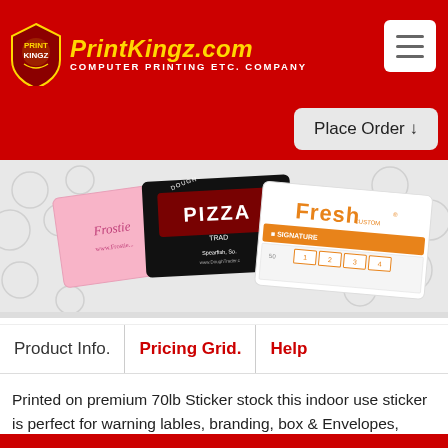PrintKingz.com — Computer Printing Etc. Company
[Figure (screenshot): Hero banner showing three sample printed cards: a pink Frostie card, a black Dough Trader pizza card, and a white Fresh Custom loyalty card]
Place Order ↓
Product Info. | Pricing Grid. | Help
Printed on premium 70lb Sticker stock this indoor use sticker is perfect for warning lables, branding, box & Envelopes, marketing campaigns, and so much more. These stickers can be printed with no coating or with UV High Gloss 1 side.